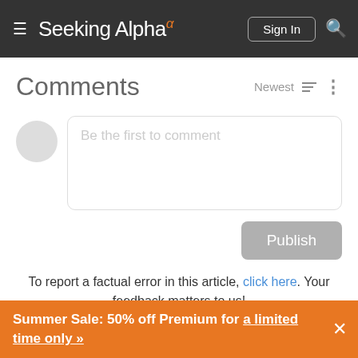Seeking Alpha — Sign In
Comments
Be the first to comment
Publish
To report a factual error in this article, click here. Your feedback matters to us!
In The News
Summer Sale: 50% off Premium for a limited time only »